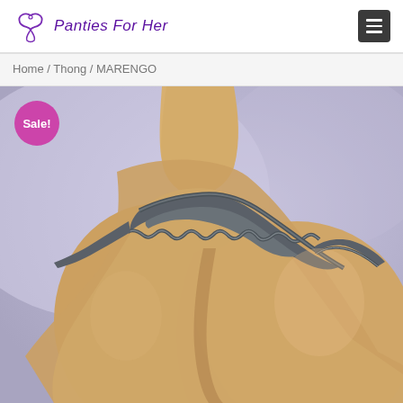Panties For Her
Home / Thong / MARENGO
[Figure (photo): Product photo of a gray thong/lingerie item (MARENGO) worn by a model, shown from the back against a lavender/purple background. A pink circular 'Sale!' badge is overlaid in the top-left corner of the image.]